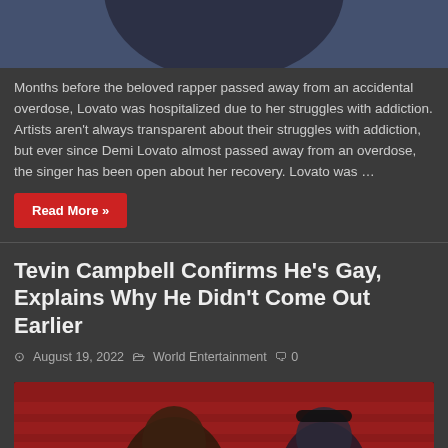[Figure (photo): Top portion of an article image showing a person in dark clothing against a blue background, partially cropped]
Months before the beloved rapper passed away from an accidental overdose, Lovato was hospitalized due to her struggles with addiction. Artists aren't always transparent about their struggles with addiction, but ever since Demi Lovato almost passed away from an overdose, the singer has been open about her recovery. Lovato was …
Read More »
Tevin Campbell Confirms He's Gay, Explains Why He Didn't Come Out Earlier
August 19, 2022   World Entertainment   0
[Figure (photo): Two men seated in a theater with red seats. The man in front is smiling, wearing glasses and a black outfit. The man behind is wearing a blue blazer and black hat.]